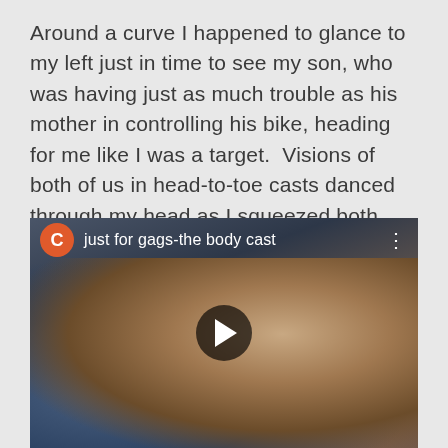Around a curve I happened to glance to my left just in time to see my son, who was having just as much trouble as his mother in controlling his bike, heading for me like I was a target.  Visions of both of us in head-to-toe casts danced through my head as I squeezed both brakes – and my eyelids closed – as hard as I could, narrowly averting yet another disaster.
[Figure (screenshot): Embedded video thumbnail showing a person bent over, with title 'just for gags-the body cast' and a channel icon with letter C and play button overlay]